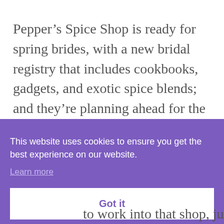Pepper’s Spice Shop is ready for spring brides, with a new bridal registry that includes cookbooks, gadgets, and exotic spice blends; and they’re planning ahead for the next season as well. Things are
This website uses cookies to ensure you get the best experience on our website.
Learn more
Got it
to work into that shop, just